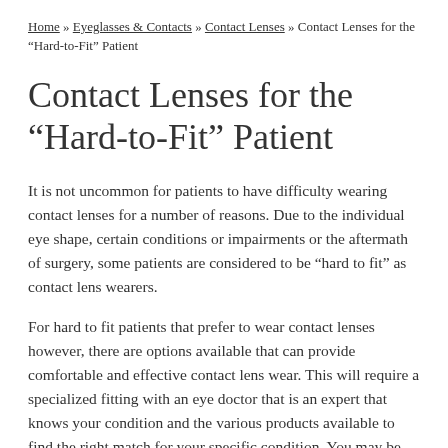Home » Eyeglasses & Contacts » Contact Lenses » Contact Lenses for the “Hard-to-Fit” Patient
Contact Lenses for the “Hard-to-Fit” Patient
It is not uncommon for patients to have difficulty wearing contact lenses for a number of reasons. Due to the individual eye shape, certain conditions or impairments or the aftermath of surgery, some patients are considered to be “hard to fit” as contact lens wearers.
For hard to fit patients that prefer to wear contact lenses however, there are options available that can provide comfortable and effective contact lens wear. This will require a specialized fitting with an eye doctor that is an expert that knows your condition and the various products available to find the right match for your specific condition. You may be